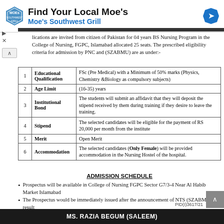[Figure (logo): Moe's Southwest Grill advertisement banner with hexagonal logo and blue diamond arrow icon]
lications are invited from citizen of Pakistan for 04 years BS Nursing Program in the College of Nursing, FGPC, Islamabad allocated 25 seats. The prescribed eligibility criteria for admission by PNC and (SZABMU) are as under:-
| # | Criteria | Details |
| --- | --- | --- |
| 1 | Educational Qualification | FSc (Pre Medical) with a Minimum of 50% marks (Physics, Chemistry &Biology as compulsory subjects) |
| 2 | Age Limit | (16-35) years |
| 3 | Institutional Bond | The students will submit an affidavit that they will deposit the stipend received by them during training if they desire to leave the training. |
| 4 | Stipend | The selected candidates will be eligible for the payment of RS 20,000 per month from the institute |
| 5 | Merit | Open Merit |
| 6 | Accommodation | The selected candidates (Only Female) will be provided accommodation in the Nursing Hostel of the hospital. |
ADMISSION SCHEDULE
Prospectus will be available in College of Nursing FGPC Sector G7/3-4 Near Al Habib Market Islamabad
The Prospectus would be immediately issued after the announcement of NTS (SZABMU) result
The prospectus price is Rs 500 /-.
PID(I)3617/21
MS. RAZIA BEGUM (SALEEM)